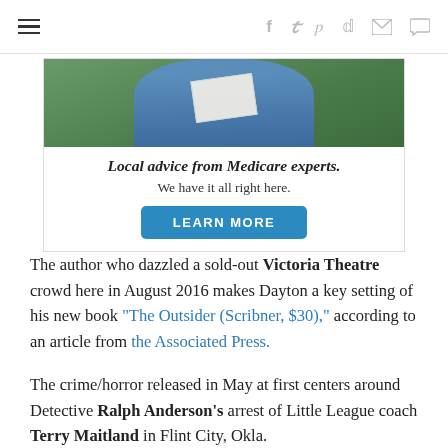≡  f  𝕥  p  𝕕  ✉  💬
[Figure (photo): Advertisement photo showing a person in a blue shirt reading a magazine or newspaper outdoors among green foliage. Below the photo: italic bold text 'Local advice from Medicare experts.' followed by 'We have it all right here.' and a blue 'LEARN MORE' button.]
The author who dazzled a sold-out Victoria Theatre crowd here in August 2016 makes Dayton a key setting of his new book "The Outsider (Scribner, $30)," according to an article from the Associated Press.
The crime/horror released in May at first centers around Detective Ralph Anderson's arrest of Little League coach Terry Maitland in Flint City, Okla.